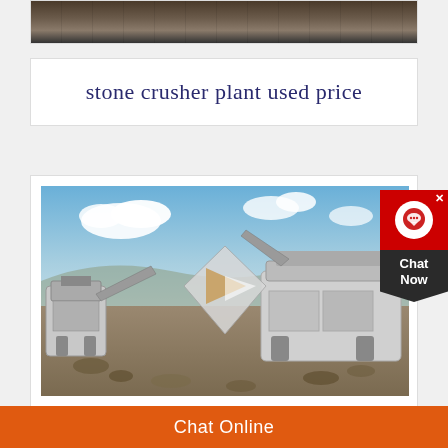[Figure (photo): Partial photo of mining or construction machinery, dark tones, top of page]
stone crusher plant used price
[Figure (photo): Stone crusher plant in open field/quarry, with conveyor belts, machinery, rocky ground, blue sky with clouds. A Play/media overlay icon (triangle) is visible in the center.]
(partial text visible at bottom, cut off)
Chat Online